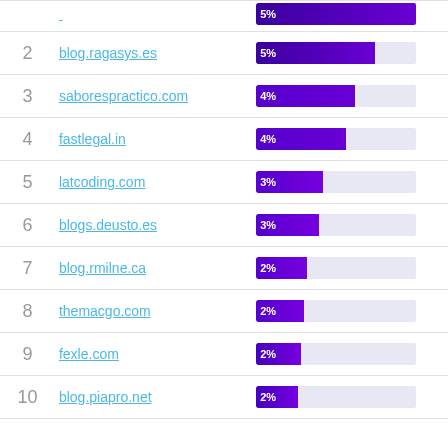| # | Domain | Share |
| --- | --- | --- |
| 1 | (partial) | 5% |
| 2 | blog.ragasys.es | 5% |
| 3 | saborespractico.com | 4% |
| 4 | fastlegal.in | 4% |
| 5 | latcoding.com | 3% |
| 6 | blogs.deusto.es | 3% |
| 7 | blog.rmilne.ca | 2% |
| 8 | themacgo.com | 2% |
| 9 | fexle.com | 2% |
| 10 | blog.piapro.net | 2% |